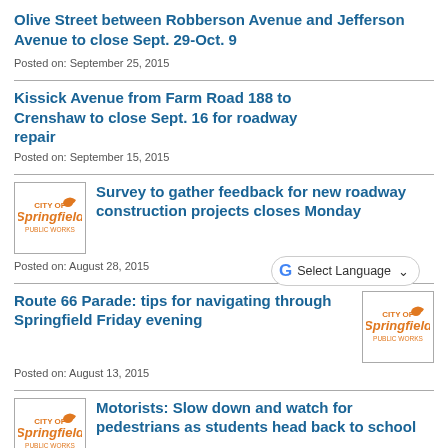Olive Street between Robberson Avenue and Jefferson Avenue to close Sept. 29-Oct. 9
Posted on: September 25, 2015
Kissick Avenue from Farm Road 188 to Crenshaw to close Sept. 16 for roadway repair
Posted on: September 15, 2015
[Figure (logo): City of Springfield Public Works logo]
Survey to gather feedback for new roadway construction projects closes Monday
Posted on: August 28, 2015
Route 66 Parade: tips for navigating through Springfield Friday evening
[Figure (logo): City of Springfield Public Works logo]
Posted on: August 13, 2015
[Figure (logo): City of Springfield Public Works logo]
Motorists: Slow down and watch for pedestrians as students head back to school
Posted on: August 10, 2015